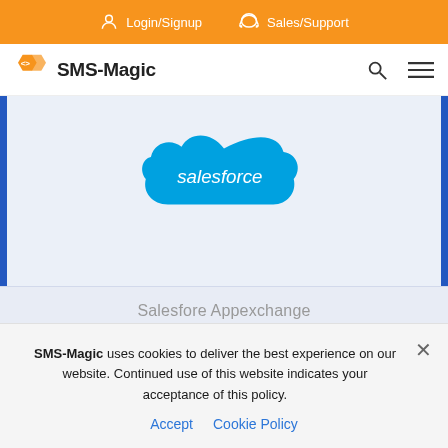Login/Signup  Sales/Support
[Figure (logo): SMS-Magic logo with orange hexagon arrows and text 'SMS-Magic', plus search and hamburger menu icons]
[Figure (logo): Salesforce cloud logo in blue with white italic 'salesforce' text]
Salesfore Appexchange
SMS-Magic uses cookies to deliver the best experience on our website. Continued use of this website indicates your acceptance of this policy.
Accept  Cookie Policy